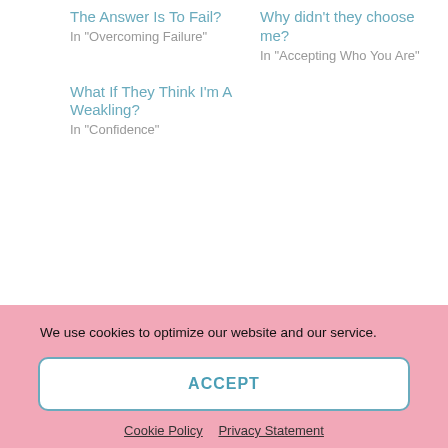The Answer Is To Fail?
In "Overcoming Failure"
Why didn't they choose me?
In "Accepting Who You Are"
What If They Think I'm A Weakling?
In "Confidence"
Posted in: Blessed By Obedience, Faith, Overcoming Adversity | Tagged: fear of rejection, not good enough, obedience
We use cookies to optimize our website and our service.
ACCEPT
Cookie Policy   Privacy Statement